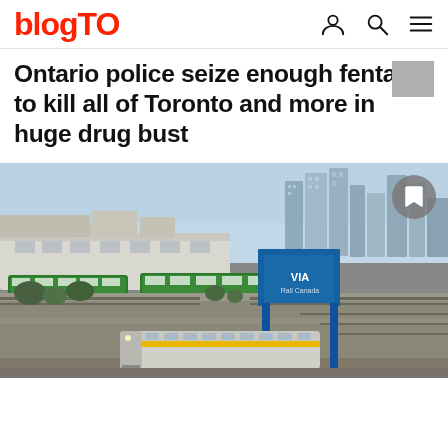blogTO
Ontario police seize enough fentanyl to kill all of Toronto and more in huge drug bust
[Figure (photo): Aerial/ground-level view of a Toronto rail yard with GO Transit trains in green and white, a VIA Rail train on tracks in foreground, blue VIA Rail overpass/sign structure, industrial buildings and modern city high-rises in background, under a hazy blue sky.]